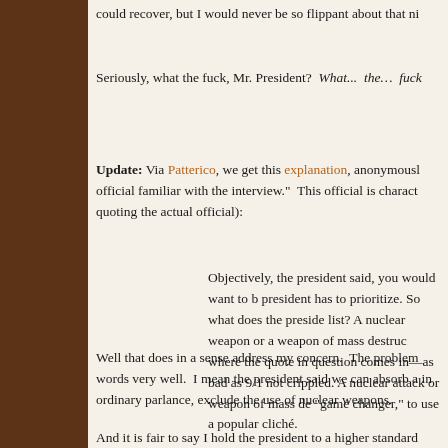could recover, but I would never be so flippant about that ni
Seriously, what the fuck, Mr. President?  What...  the…  fuck
Update: Via Patterico, we get this explanation, anonymousl official familiar with the interview."  This official is charact quoting the actual official):
Objectively, the president said, you would want to b president has to prioritize. So what does the preside list? A nuclear weapon or a weapon of mass destruc where the quote in question comes in—as bad as 9/1 not crippled. A nuclear attack or weapon of mass de "game changer," to use a popular cliché.
Well that does in a sense address my concern.  The problem words very well.  I mean the president said we can absorb a in ordinary parlance, exclude the use of nuclear weapons.
And it is fair to say I hold the president to a higher standard